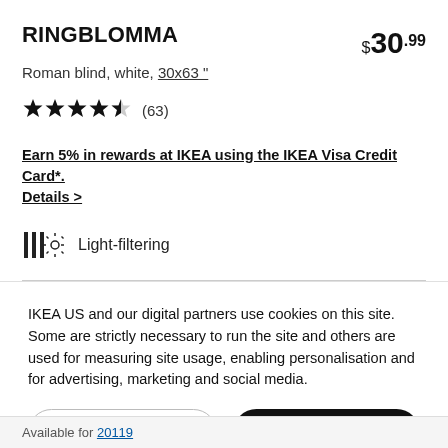RINGBLOMMA
$30.99
Roman blind, white, 30x63 "
★★★★½ (63)
Earn 5% in rewards at IKEA using the IKEA Visa Credit Card*. Details >
Light-filtering
IKEA US and our digital partners use cookies on this site. Some are strictly necessary to run the site and others are used for measuring site usage, enabling personalisation and for advertising, marketing and social media.
Cookie settings
Ok
Available for 20119